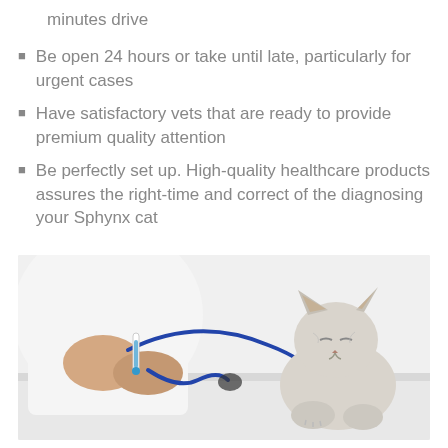minutes drive
Be open 24 hours or take until late, particularly for urgent cases
Have satisfactory vets that are ready to provide premium quality attention
Be perfectly set up. High-quality healthcare products assures the right-time and correct of the diagnosing your Sphynx cat
[Figure (photo): A veterinarian in a white coat holds a stethoscope in both hands on the left side, and a hairless Sphynx cat sits on the right side on a white surface.]